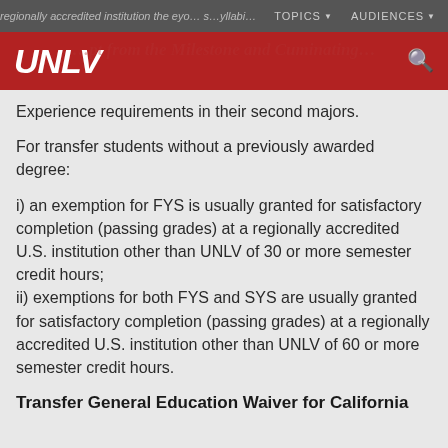TOPICS   AUDIENCES
UNLV
Experience requirements in their second majors.
For transfer students without a previously awarded degree:
i) an exemption for FYS is usually granted for satisfactory completion (passing grades) at a regionally accredited U.S. institution other than UNLV of 30 or more semester credit hours; ii) exemptions for both FYS and SYS are usually granted for satisfactory completion (passing grades) at a regionally accredited U.S. institution other than UNLV of 60 or more semester credit hours.
Transfer General Education Waiver for California